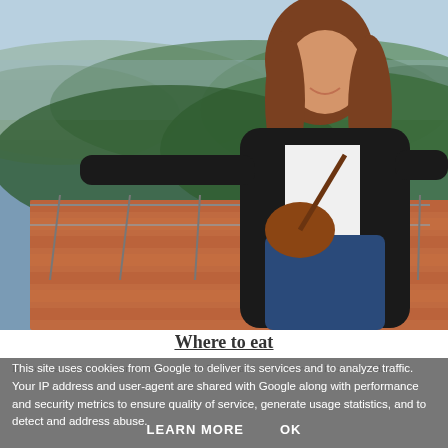[Figure (photo): Young woman with long brown hair smiling on a rooftop or elevated terrace, wearing a black leather jacket, white t-shirt, blue jeans, and a brown crossbody bag. Behind her are terracotta tiled rooftops and a hilly, forested landscape with a city visible in the distance under a blue hazy sky.]
Where to eat
This site uses cookies from Google to deliver its services and to analyze traffic. Your IP address and user-agent are shared with Google along with performance and security metrics to ensure quality of service, generate usage statistics, and to detect and address abuse.
LEARN MORE   OK